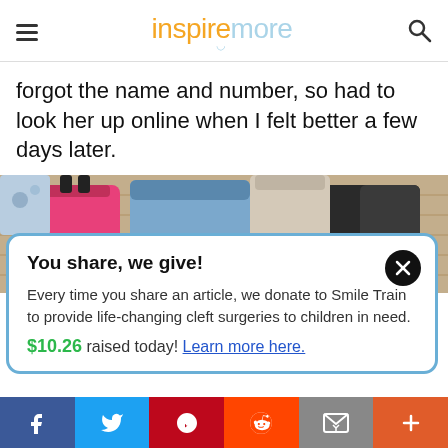inspiremore
forgot the name and number, so had to look her up online when I felt better a few days later.
[Figure (photo): Colorful bags and clothing hanging on a clothesline or rack against a wooden wall background]
You share, we give! Every time you share an article, we donate to Smile Train to provide life-changing cleft surgeries to children in need. $10.26 raised today! Learn more here.
Social share bar: Facebook, Twitter, Pinterest, Reddit, Email, More